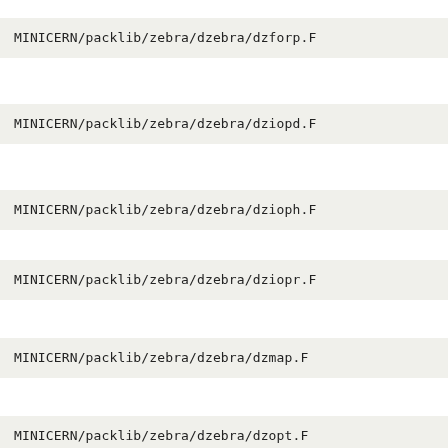MINICERN/packlib/zebra/dzebra/dzforp.F
MINICERN/packlib/zebra/dzebra/dziopd.F
MINICERN/packlib/zebra/dzebra/dzioph.F
MINICERN/packlib/zebra/dzebra/dziopr.F
MINICERN/packlib/zebra/dzebra/dzmap.F
MINICERN/packlib/zebra/dzebra/dzopt.F